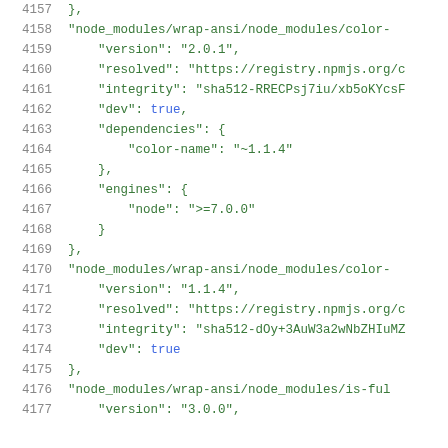Code listing lines 4157-4177, JSON package-lock file content
4157    },
4158    "node_modules/wrap-ansi/node_modules/color-
4159        "version": "2.0.1",
4160        "resolved": "https://registry.npmjs.org/c
4161        "integrity": "sha512-RRECPsj7iu/xb5oKYcsF
4162        "dev": true,
4163        "dependencies": {
4164            "color-name": "~1.1.4"
4165        },
4166        "engines": {
4167            "node": ">=7.0.0"
4168        }
4169    },
4170    "node_modules/wrap-ansi/node_modules/color-
4171        "version": "1.1.4",
4172        "resolved": "https://registry.npmjs.org/c
4173        "integrity": "sha512-dOy+3AuW3a2wNbZHIuMZ
4174        "dev": true
4175    },
4176    "node_modules/wrap-ansi/node_modules/is-ful
4177        "version": "3.0.0",